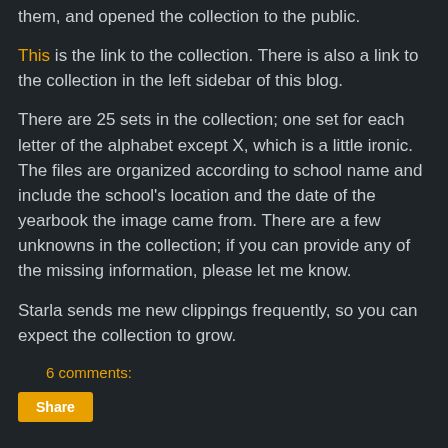them, and opened the collection to the public.
This is the link to the collection. There is also a link to the collection in the left sidebar of this blog.
There are 25 sets in the collection; one set for each letter of the alphabet except X, which is a little ironic. The files are organized according to school name and include the school's location and the date of the yearbook the image came from. There are a few unknowns in the collection; if you can provide any of the missing information, please let me know.
Starla sends me new clippings frequently, so you can expect the collection to grow.
6 comments:
Share
Monday, April 16, 2012
Play Ball